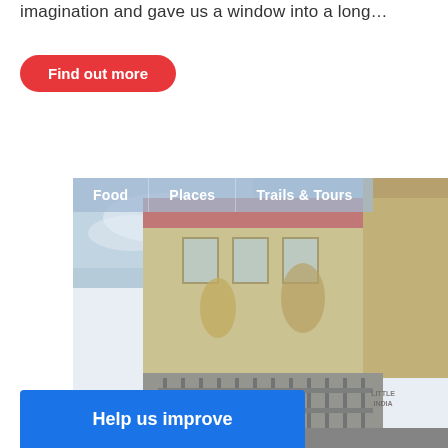imagination and gave us a window into a long…
Find out more
[Figure (photo): A colorful building with murals and decorative elements, likely in Little India, Singapore. The building has yellow/gold decorative figures and iron gate fencing at entrance. Navigation tabs overlay the top of the image: Food, Places, Trails & Tours.]
Help us improve